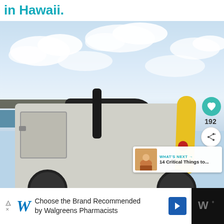in Hawaii.
[Figure (photo): A white Jeep Wrangler convertible with a yellow surfboard mounted on the back, parked near the ocean under a partly cloudy blue sky in Hawaii.]
192
WHAT'S NEXT → 14 Critical Things to...
Choose the Brand Recommended by Walgreens Pharmacists